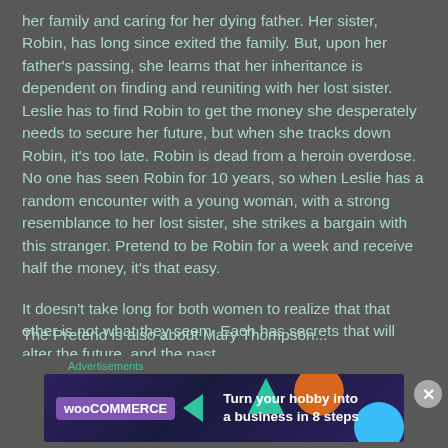her family and caring for her dying father. Her sister, Robin, has long since exited the family. But, upon her father's passing, she learns that her inheritance is dependent on finding and reuniting with her lost sister. Leslie has to find Robin to get the money she desperately needs to secure her future, but when she tracks down Robin, it's too late. Robin is dead from a heroin overdose. No one has seen Robin for 10 years, so when Leslie has a random encounter with a young woman, with a strong resemblance to her lost sister, she strikes a bargain with this stranger. Pretend to be Robin for a week and receive half the money, it's that easy.
It doesn't take long for both women to realize that that other is not what they seem. Each has secrets that will alter the future, and the past.
The Pretend is also about Mary Thompson...
Advertisements
[Figure (other): WooCommerce advertisement banner: 'Turn your hobby into a business in 8 steps' with decorative shapes (teal triangle, orange circle, blue circle)]